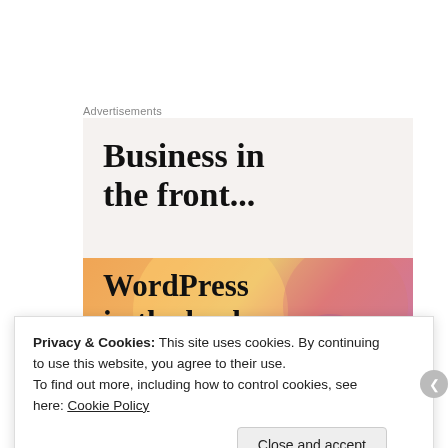Advertisements
[Figure (illustration): Advertisement banner: top section with light beige background showing bold serif text 'Business in the front...', bottom section with orange/pink gradient background and decorative circles showing bold serif text 'WordPress in the back']
Today I'm going to split the last wedge of chocolate cake with
Privacy & Cookies: This site uses cookies. By continuing to use this website, you agree to their use.
To find out more, including how to control cookies, see here: Cookie Policy
Close and accept